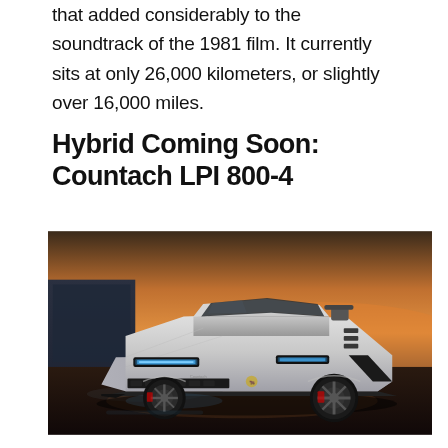that added considerably to the soundtrack of the 1981 film. It currently sits at only 26,000 kilometers, or slightly over 16,000 miles.
Hybrid Coming Soon: Countach LPI 800-4
[Figure (photo): A silver Lamborghini Countach LPI 800-4 supercar photographed at sunset, viewed from a front three-quarter angle, with blue LED headlights illuminated, parked on a wet surface with a modern building and warm orange sky in the background.]